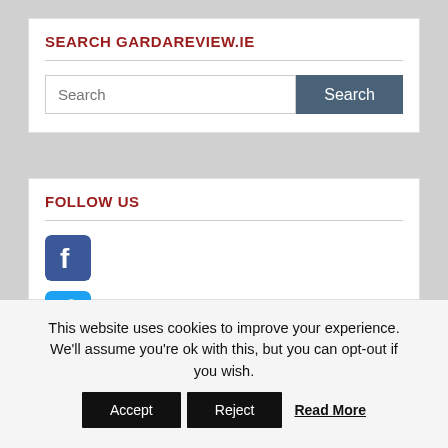SEARCH GARDAREVIEW.IE
[Figure (screenshot): Search input field with placeholder text 'Search' and a dark blue/grey 'Search' button]
FOLLOW US
[Figure (illustration): Facebook icon (blue rounded square with white 'f')]
[Figure (illustration): Twitter icon (blue rounded square with white bird)]
[Figure (illustration): Email/envelope icon (grey rounded square with envelope)]
This website uses cookies to improve your experience. We'll assume you're ok with this, but you can opt-out if you wish. Accept Reject Read More